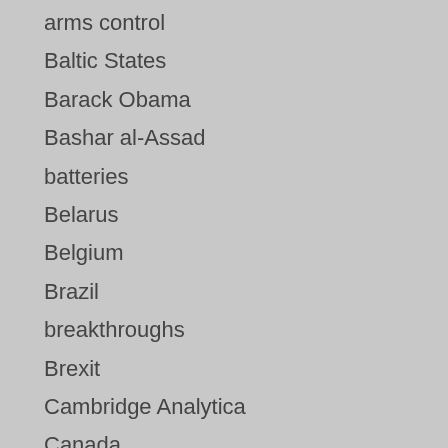arms control
Baltic States
Barack Obama
Bashar al-Assad
batteries
Belarus
Belgium
Brazil
breakthroughs
Brexit
Cambridge Analytica
Canada
Cartoons
centrifuges
Chechnya